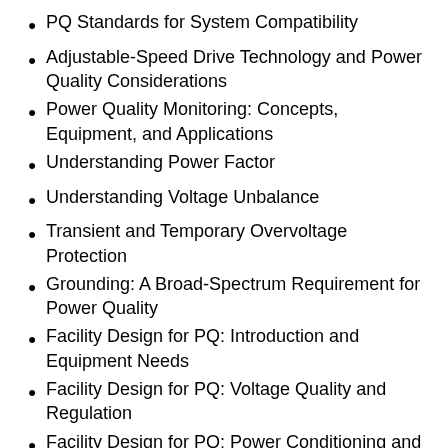PQ Standards for System Compatibility
Adjustable-Speed Drive Technology and Power Quality Considerations
Power Quality Monitoring: Concepts, Equipment, and Applications
Understanding Power Factor
Understanding Voltage Unbalance
Transient and Temporary Overvoltage Protection
Grounding: A Broad-Spectrum Requirement for Power Quality
Facility Design for PQ: Introduction and Equipment Needs
Facility Design for PQ: Voltage Quality and Regulation
Facility Design for PQ: Power Conditioning and Mitigation